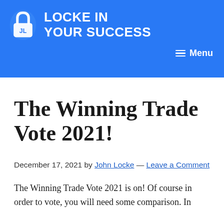LOCKE IN YOUR SUCCESS
The Winning Trade Vote 2021!
December 17, 2021 by John Locke — Leave a Comment
The Winning Trade Vote 2021 is on! Of course in order to vote, you will need some comparison. In